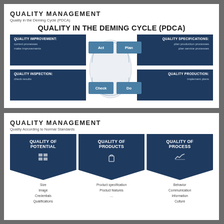QUALITY MANAGEMENT
Quality in the Deming Cycle (PDCA)
QUALITY IN THE DEMING CYCLE (PDCA)
[Figure (infographic): PDCA cycle diagram with four quadrants: Quality Improvement (Act) - correct processes, make improvements; Quality Specifications (Plan) - plan production processes, plan service processes; Quality Inspection (Check) - check results; Quality Production (Do) - implement plans. Center shows Act, Plan, Check, Do cycle buttons.]
QUALITY MANAGEMENT
Quality According to Normal Standards
[Figure (infographic): Three columns with pentagon/chevron headers: Quality of Potential (Size, Image, Credentials, Qualifications), Quality of Products (Product specification, Product features), Quality of Process (Behavior, Communication, Information, Culture)]